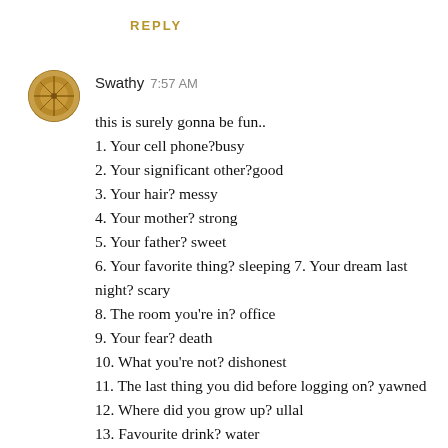REPLY
Swathy  7:57 AM
this is surely gonna be fun..
1. Your cell phone?busy
2. Your significant other?good
3. Your hair? messy
4. Your mother? strong
5. Your father? sweet
6. Your favorite thing? sleeping 7. Your dream last night? scary
8. The room you're in? office
9. Your fear? death
10. What you're not? dishonest
11. The last thing you did before logging on? yawned
12. Where did you grow up? ullal
13. Favourite drink? water
14. What are you wearing? sweater 15. Your TV? lcd
16. Your pet? dead!!
17. Your car? old...